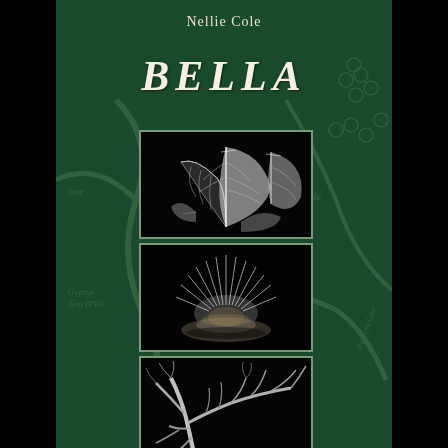Nellie Cole
BELLA
[Figure (illustration): Black and white scratchboard illustration of large tropical leaves]
[Figure (illustration): Black and white scratchboard illustration of a hedgehog or spiky creature glowing from below]
[Figure (illustration): Black and white scratchboard illustration of gnarled bare tree branches]